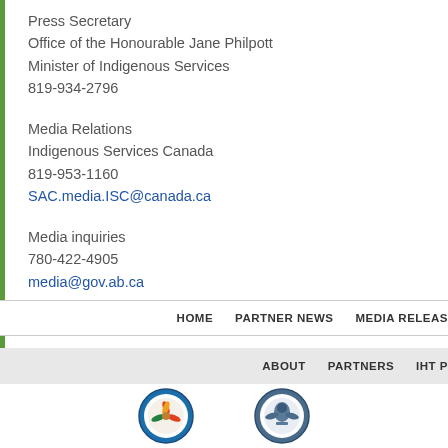Press Secretary
Office of the Honourable Jane Philpott
Minister of Indigenous Services
819-934-2796
Media Relations
Indigenous Services Canada
819-953-1160
SAC.media.ISC@canada.ca
Media inquiries
780-422-4905
media@gov.ab.ca
NT5
HOME   PARTNER NEWS   MEDIA RELEAS...
ABOUT   PARTNERS   IHT P...
[Figure (logo): Two circular organization logos at the bottom of the page]